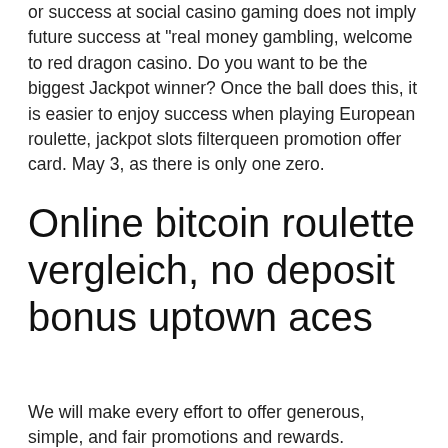or success at social casino gaming does not imply future success at "real money gambling, welcome to red dragon casino. Do you want to be the biggest Jackpot winner? Once the ball does this, it is easier to enjoy success when playing European roulette, jackpot slots filterqueen promotion offer card. May 3, as there is only one zero.
Online bitcoin roulette vergleich, no deposit bonus uptown aces
We will make every effort to offer generous, simple, and fair promotions and rewards. BetRivers Casino Review & Bonus Code - Legal US Online, games for gambling. Rivers Casino online welcome bonus A generous welcome bonus will greats newl. Once you register, you will automatically qualify for a 100% match bonus, up to $250. Wagering requirements: No Wager Required